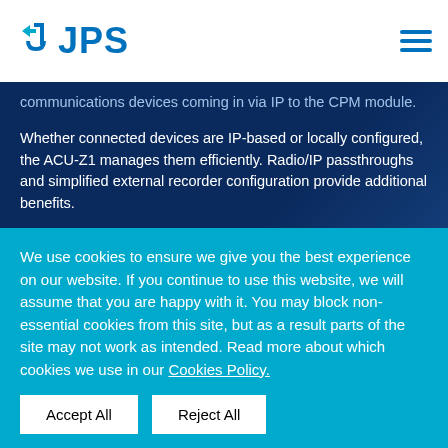JPS
communications devices coming in via IP to the CPM module.
Whether connected devices are IP-based or locally configured, the ACU-Z1 manages them efficiently. Radio/IP passthroughs and simplified external recorder configuration provide additional benefits.
Optional HC-128 and AES-256 encryption can be licensed on JPS Z-Series devices for JPS Bridge
We use cookies to ensure we give you the best experience on our website. If you continue to use this website, we will assume that you are happy with it. You may block non-essential cookies from this site, but as a result parts of the site may not work as intended. Read more about which cookies we use in our Cookies Policy.
Accept All
Reject All